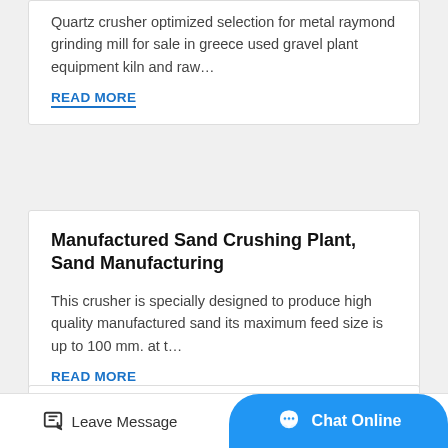Quartz crusher optimized selection for metal raymond grinding mill for sale in greece used gravel plant equipment kiln and raw…
READ MORE
Manufactured Sand Crushing Plant, Sand Manufacturing
This crusher is specially designed to produce high quality manufactured sand its maximum feed size is up to 100 mm. at t…
READ MORE
Robo Sand Crushers In Kanakapura Main Road
Robo sand crushers in kanakapura main road. fob reference
Leave Message
Chat Online